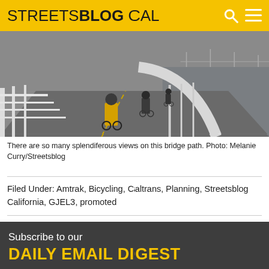STREETSBLOG CAL
[Figure (photo): Cyclists riding on a bridge bike path with white railings; one cyclist wears a yellow vest; bridge spans visible in the background over water.]
There are so many splendiferous views on this bridge path. Photo: Melanie Curry/Streetsblog
Filed Under: Amtrak, Bicycling, Caltrans, Planning, Streetsblog California, GJEL3, promoted
Subscribe to our
DAILY EMAIL DIGEST